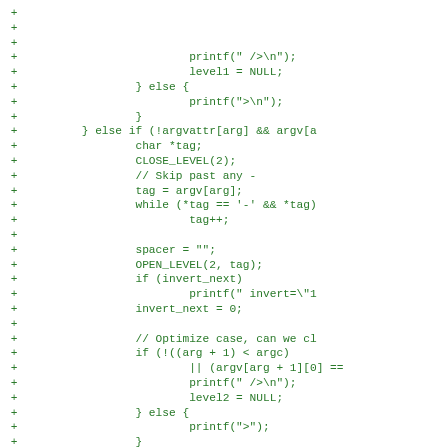Code diff showing C code additions with + markers. Lines include printf, level assignments, else blocks, CLOSE_LEVEL, OPEN_LEVEL, while loop, spacer, invert_next, and optimization comments.